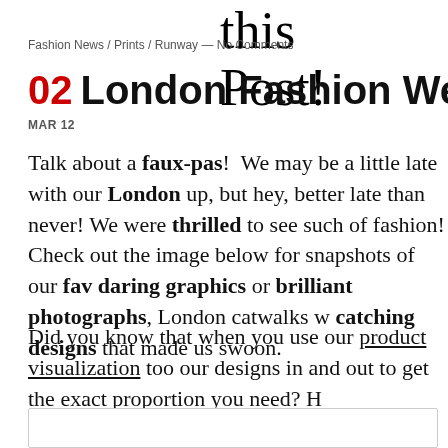this Post!
Fashion News / Prints / Runway — No Comments
02 London Fashion Week – Prints
MAR 12
Talk about a faux-pas! We may be a little late with our London up, but hey, better late than never! We were thrilled to see such of fashion! Check out the image below for snapshots of our fa daring graphics or brilliant photographs, London catwalks w catching designs that made us swoon.
Did you know that when you use our product visualization too our designs in and out to get the exact proportion you need? H start creating some colorful collections today!